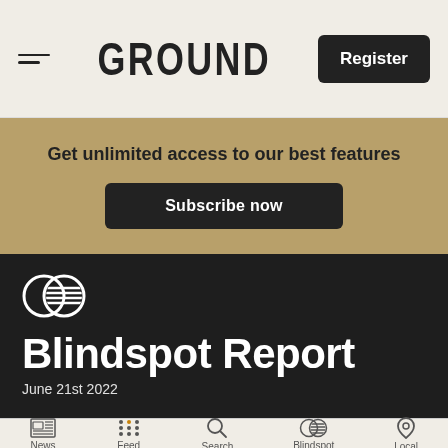GROUND
Register
Get unlimited access to our best features
Subscribe now
Blindspot Report
June 21st 2022
News  Feed  Search  Blindspot  Local